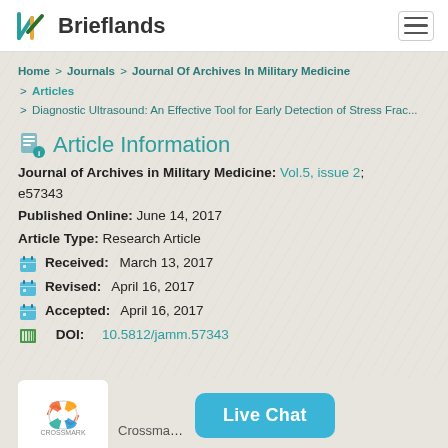Brieflands
Home > Journals > Journal Of Archives In Military Medicine > Articles > Diagnostic Ultrasound: An Effective Tool for Early Detection of Stress Frac...
Article Information
Journal of Archives in Military Medicine: Vol.5, issue 2; e57343
Published Online: June 14, 2017
Article Type: Research Article
Received: March 13, 2017
Revised: April 16, 2017
Accepted: April 16, 2017
DOI: 10.5812/jamm.57343
Crossmark   Live Chat